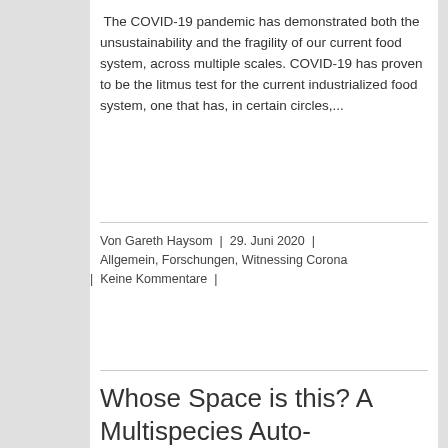The COVID-19 pandemic has demonstrated both the unsustainability and the fragility of our current food system, across multiple scales. COVID-19 has proven to be the litmus test for the current industrialized food system, one that has, in certain circles,...
Von Gareth Haysom  |  29. Juni 2020  |  Allgemein, Forschungen, Witnessing Corona
|  Keine Kommentare  |
Weiterlesen
Whose Space is this? A Multispecies Auto-Ethnography of Viral-Human Negotiations in the